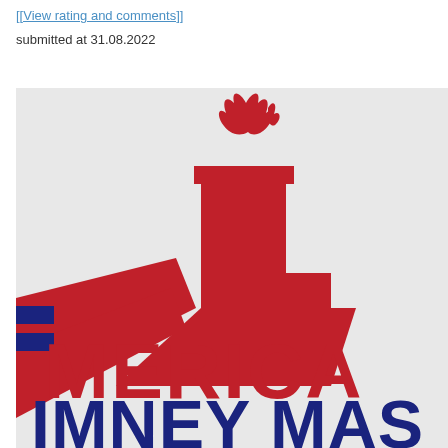[[View rating and comments]]
submitted at 31.08.2022
[Figure (logo): Partial view of American Chimney Masters logo: red industrial chimney/factory silhouette with flame on top, large red text reading 'MERICA' and dark blue text reading 'IMNEY MAS' (partially cropped), on light grey background]